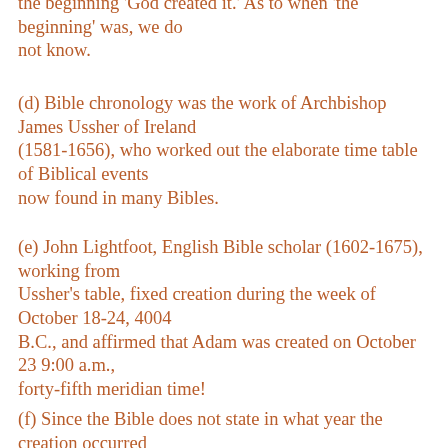the beginning 'God created it.' As to when 'the beginning' was, we do not know.
(d) Bible chronology was the work of Archbishop James Ussher of Ireland (1581-1656), who worked out the elaborate time table of Biblical events now found in many Bibles.
(e) John Lightfoot, English Bible scholar (1602-1675), working from Ussher's table, fixed creation during the week of October 18-24, 4004 B.C., and affirmed that Adam was created on October 23 9:00 a.m., forty-fifth meridian time!
(f) Since the Bible does not state in what year the creation occurred